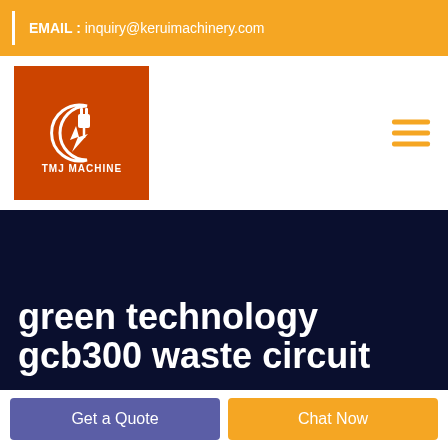EMAIL : inquiry@keruimachinery.com
[Figure (logo): TMJ Machine logo — orange square with white plug/lightning bolt icon and text 'TMJ MACHINE']
green technology gcb300 waste circuit
Get a Quote
Chat Now